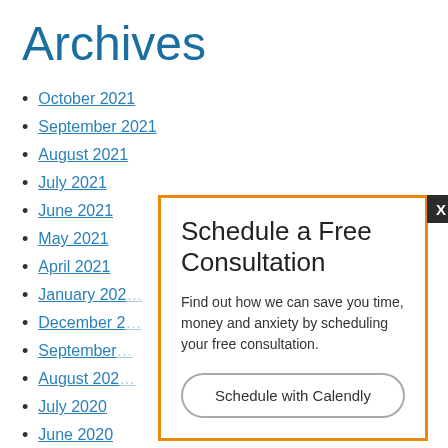Archives
October 2021
September 2021
August 2021
July 2021
June 2021
May 2021
April 2021
January 202…
December 2…
September…
August 202…
July 2020
June 2020
May 2020
April 2020
March 2020
[Figure (other): Popup modal with orange border: 'Schedule a Free Consultation' heading, body text 'Find out how we can save you time, money and anxiety by scheduling your free consultation.', and a 'Schedule with Calendly' button. An X close button appears in the top-right.]